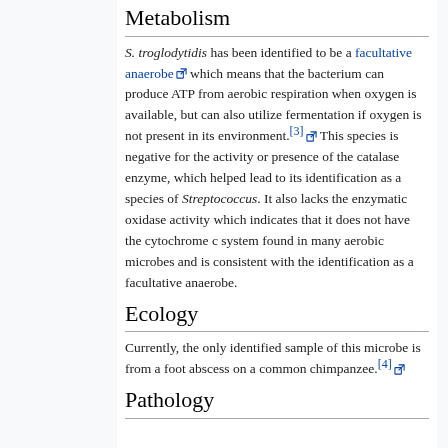Metabolism
S. troglodytidis has been identified to be a facultative anaerobe which means that the bacterium can produce ATP from aerobic respiration when oxygen is available, but can also utilize fermentation if oxygen is not present in its environment.[3] This species is negative for the activity or presence of the catalase enzyme, which helped lead to its identification as a species of Streptococcus. It also lacks the enzymatic oxidase activity which indicates that it does not have the cytochrome c system found in many aerobic microbes and is consistent with the identification as a facultative anaerobe.
Ecology
Currently, the only identified sample of this microbe is from a foot abscess on a common chimpanzee.[4]
Pathology